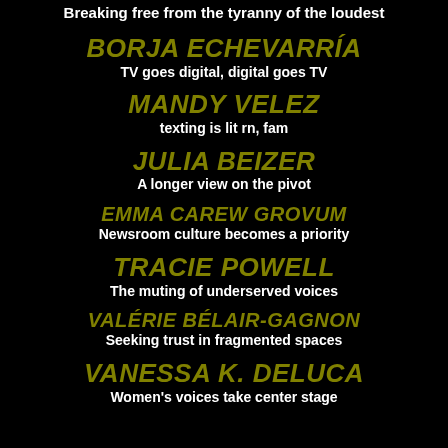Breaking free from the tyranny of the loudest
BORJA ECHEVARRÍA
TV goes digital, digital goes TV
MANDY VELEZ
texting is lit rn, fam
JULIA BEIZER
A longer view on the pivot
EMMA CAREW GROVUM
Newsroom culture becomes a priority
TRACIE POWELL
The muting of underserved voices
VALÉRIE BÉLAIR-GAGNON
Seeking trust in fragmented spaces
VANESSA K. DELUCA
Women's voices take center stage